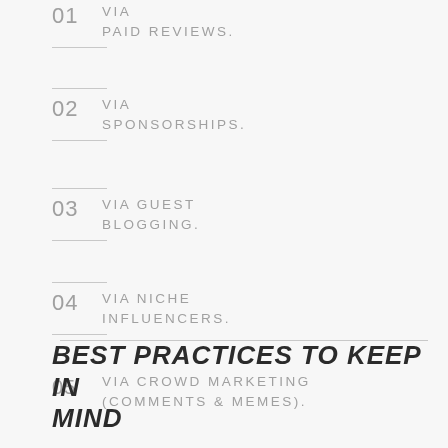01 VIA PAID REVIEWS.
02 VIA SPONSORSHIPS.
03 VIA GUEST BLOGGING.
04 VIA NICHE INFLUENCERS.
05 VIA CROWD MARKETING (COMMENTS & MEMES).
BEST PRACTICES TO KEEP IN MIND